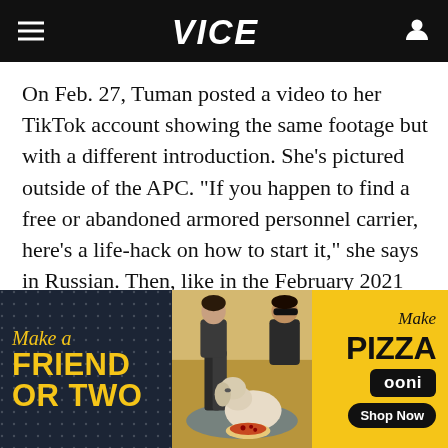VICE
On Feb. 27, Tuman posted a video to her TikTok account showing the same footage but with a different introduction. She's pictured outside of the APC. “If you happen to find a free or abandoned armored personnel carrier, here’s a life-hack on how to start it,” she says in Russian. Then, like in the February 2021 video, she walks through the basics of operating the vehicle.
[Figure (photo): Advertisement banner for Ooni pizza oven. Left dark section reads 'Make a FRIEND OR TWO' in yellow text. Center shows a picnic scene with a dog and people. Right yellow section shows 'Make Pizza' with Ooni logo and 'Shop Now' button.]